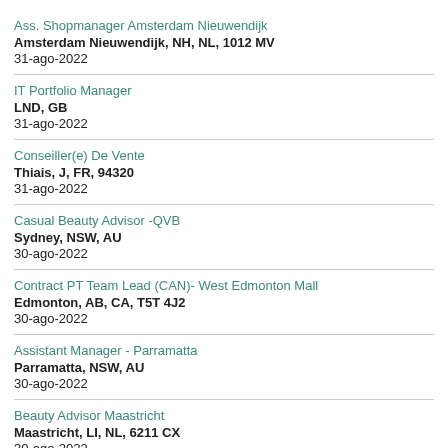Ass. Shopmanager Amsterdam Nieuwendijk
Amsterdam Nieuwendijk, NH, NL, 1012 MV
31-ago-2022
IT Portfolio Manager
LND, GB
31-ago-2022
Conseiller(e) De Vente
Thiais, J, FR, 94320
31-ago-2022
Casual Beauty Advisor -QVB
Sydney, NSW, AU
30-ago-2022
Contract PT Team Lead (CAN)- West Edmonton Mall
Edmonton, AB, CA, T5T 4J2
30-ago-2022
Assistant Manager - Parramatta
Parramatta, NSW, AU
30-ago-2022
Beauty Advisor Maastricht
Maastricht, LI, NL, 6211 CX
30-ago-2022